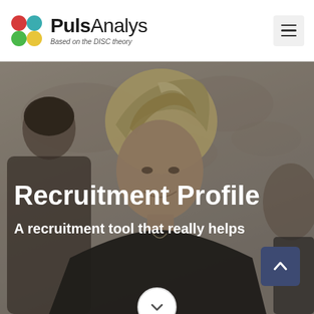PulsAnalys — Based on the DISC theory
[Figure (photo): Hero background photo of a smiling blonde woman in a dark outfit, standing in a professional setting with a world map visible in the background. The image has a dark overlay.]
Recruitment Profile
A recruitment tool that really helps